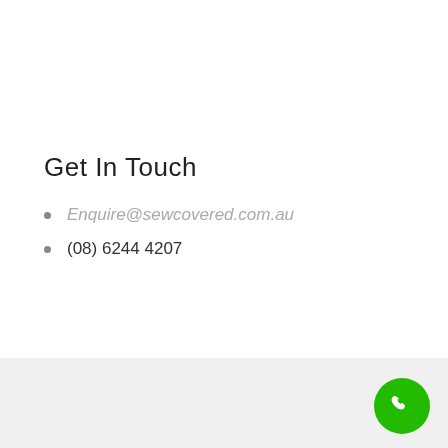Get In Touch
Enquire@sewcovered.com.au
(08) 6244 4207
[Figure (illustration): Green circular phone call button with white handset icon in the bottom-right corner of the footer area]